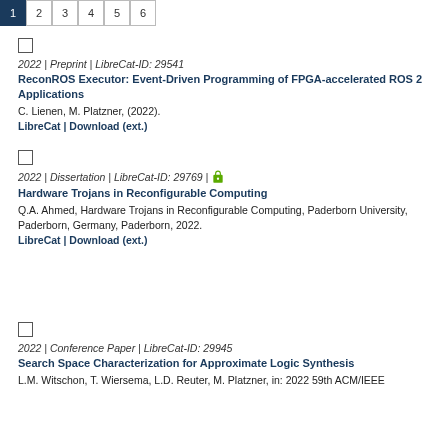1 2 3 4 5 6 (pagination)
2022 | Preprint | LibreCat-ID: 29541
ReconROS Executor: Event-Driven Programming of FPGA-accelerated ROS 2 Applications
C. Lienen, M. Platzner, (2022).
LibreCat | Download (ext.)
2022 | Dissertation | LibreCat-ID: 29769 | [open access]
Hardware Trojans in Reconfigurable Computing
Q.A. Ahmed, Hardware Trojans in Reconfigurable Computing, Paderborn University, Paderborn, Germany, Paderborn, 2022.
LibreCat | Download (ext.)
2022 | Conference Paper | LibreCat-ID: 29945
Search Space Characterization for Approximate Logic Synthesis
L.M. Witschon, T. Wiersema, L.D. Reuter, M. Platzner, in: 2022 59th ACM/IEEE...